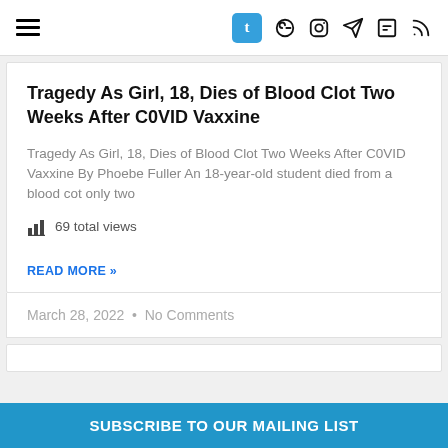Navigation header with hamburger menu and social icons: Tumblr, Facebook, Instagram, Telegram, LinkedIn, RSS
Tragedy As Girl, 18, Dies of Blood Clot Two Weeks After C0VID Vaxxine
Tragedy As Girl, 18, Dies of Blood Clot Two Weeks After C0VID Vaxxine By Phoebe Fuller An 18-year-old student died from a blood cot only two
69 total views
READ MORE »
March 28, 2022  •  No Comments
SUBSCRIBE TO OUR MAILING LIST